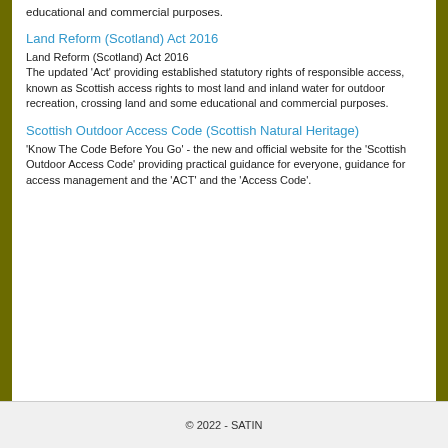educational and commercial purposes.
Land Reform (Scotland) Act 2016
Land Reform (Scotland) Act 2016
The updated 'Act' providing established statutory rights of responsible access, known as Scottish access rights to most land and inland water for outdoor recreation, crossing land and some educational and commercial purposes.
Scottish Outdoor Access Code (Scottish Natural Heritage)
'Know The Code Before You Go' - the new and official website for the 'Scottish Outdoor Access Code' providing practical guidance for everyone, guidance for access management and the 'ACT' and the 'Access Code'.
© 2022 - SATIN